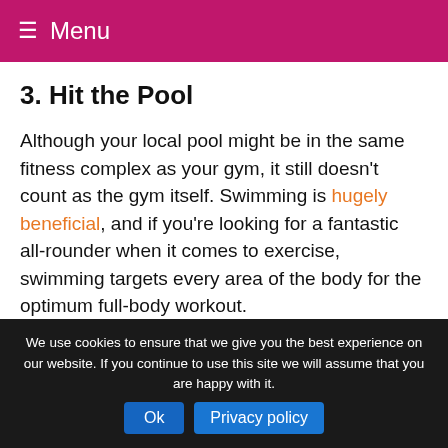≡ Menu
3. Hit the Pool
Although your local pool might be in the same fitness complex as your gym, it still doesn't count as the gym itself. Swimming is hugely beneficial, and if you're looking for a fantastic all-rounder when it comes to exercise, swimming targets every area of the body for the optimum full-body workout.
It can also leave you feeling extremely refreshed and rejuvenated.
We use cookies to ensure that we give you the best experience on our website. If you continue to use this site we will assume that you are happy with it. Ok  Privacy policy